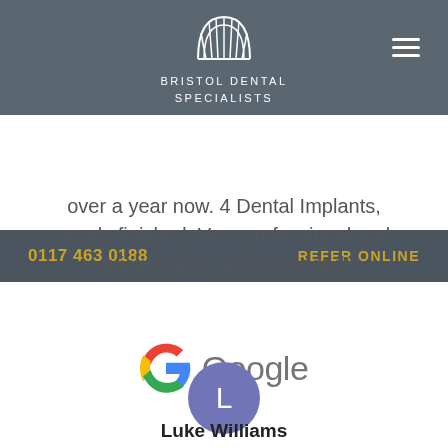BRISTOL DENTAL SPECIALISTS
0117 463 0188
REFER ONLINE
over a year now. 4 Dental Implants, nearly finished. Very professional and quick. Highly recommended!
[Figure (logo): Google logo with coloured G and the word Google]
[Figure (illustration): Purple circle avatar with letter L]
Luke Williams